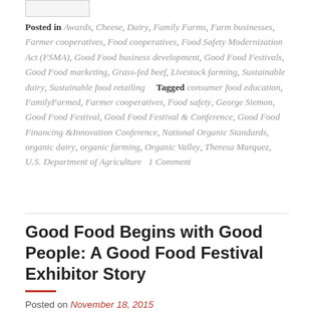Posted in Awards, Cheese, Dairy, Family Farms, Farm businesses, Farmer cooperatives, Food cooperatives, Food Safety Modernization Act (FSMA), Good Food business development, Good Food Festivals, Good Food marketing, Grass-fed beef, Livestock farming, Sustainable dairy, Sustainable food retailing   Tagged consumer food education, FamilyFarmed, Farmer cooperatives, Food safety, George Siemon, Good Food Festival, Good Food Festival & Conference, Good Food Financing &Innovation Conference, National Organic Standards, organic dairy, organic farming, Organic Valley, Theresa Marquez, U.S. Department of Agriculture   1 Comment
Good Food Begins with Good People: A Good Food Festival Exhibitor Story
Posted on November 18, 2015